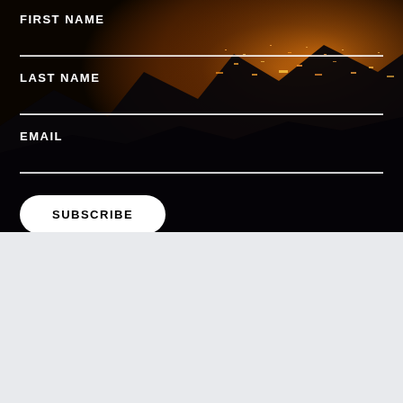FIRST NAME
LAST NAME
EMAIL
SUBSCRIBE
[Figure (logo): Pete Aguilar campaign logo on blue background featuring a white California grizzly bear silhouette, a star, the text CA 31, and PETE AGUILAR in bold white letters]